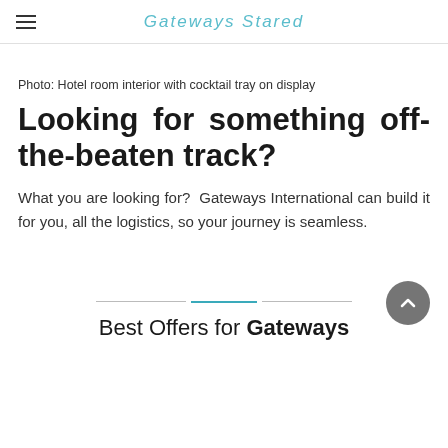Gateways International [logo/wordmark with hamburger menu]
Photo: Hotel room interior with cocktail tray on display
Looking for something off-the-beaten track?
What you are looking for?  Gateways International can build it for you, all the logistics, so your journey is seamless.
Best Offers for Gateways